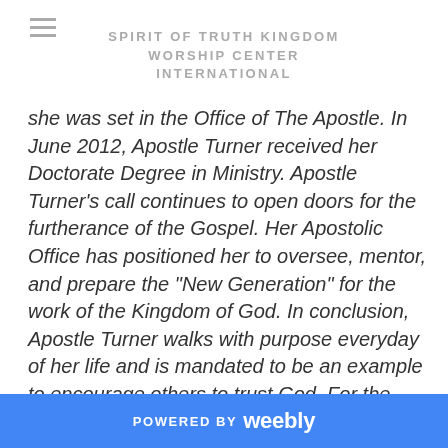SPIRIT OF TRUTH KINGDOM WORSHIP CENTER INTERNATIONAL
she was set in the Office of The Apostle. In June 2012, Apostle Turner received her Doctorate Degree in Ministry. Apostle Turner's call continues to open doors for the furtherance of the Gospel. Her Apostolic Office has positioned her to oversee, mentor, and prepare the "New Generation" for the work of the Kingdom of God. In conclusion, Apostle Turner walks with purpose everyday of her life and is mandated to be an example to encourage others to trust God. For the people who do know their God shall be strong and do exploits, hence leaving a Godly legacy to pass to generations to come.
POWERED BY weebly